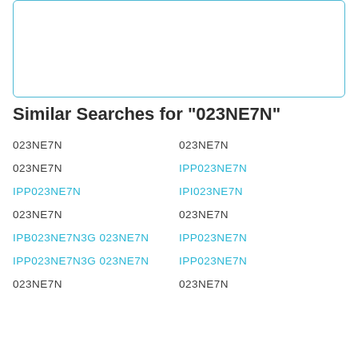[Figure (other): Empty rounded rectangle box with blue border at top of page]
Similar Searches for "023NE7N"
023NE7N | 023NE7N
023NE7N | IPP023NE7N
IPP023NE7N | IPI023NE7N
023NE7N | 023NE7N
IPB023NE7N3G 023NE7N | IPP023NE7N
IPP023NE7N3G 023NE7N | IPP023NE7N
023NE7N | 023NE7N